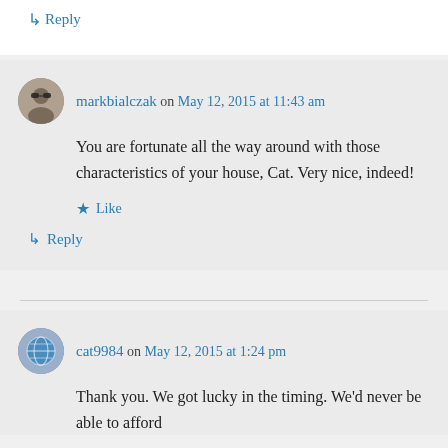↳ Reply
markbialczak on May 12, 2015 at 11:43 am
You are fortunate all the way around with those characteristics of your house, Cat. Very nice, indeed!
★ Like
↳ Reply
cat9984 on May 12, 2015 at 1:24 pm
Thank you. We got lucky in the timing. We'd never be able to afford